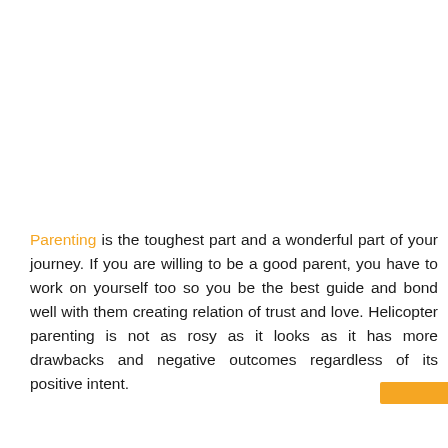Parenting is the toughest part and a wonderful part of your journey. If you are willing to be a good parent, you have to work on yourself too so you be the best guide and bond well with them creating relation of trust and love. Helicopter parenting is not as rosy as it looks as it has more drawbacks and negative outcomes regardless of its positive intent.